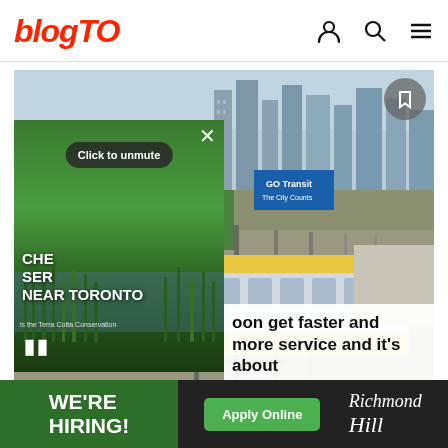blogTO
[Figure (photo): A VIA Rail train on tracks with Toronto skyline and a GO Transit billboard in the background; overlaid with a smaller video panel showing a green wetland area labeled 'CHE... SE... NEAR TORONTO' with a 'Click to unmute' button and pause controls; bookmark icon top right; caption 'is the Terra Cotta Conservation']
oon get faster and more service and it's about time
[Figure (infographic): Advertisement banner: green section reading 'WE'RE HIRING!' followed by dark section with 'Apply Online' green button and Richmond Hill logo]